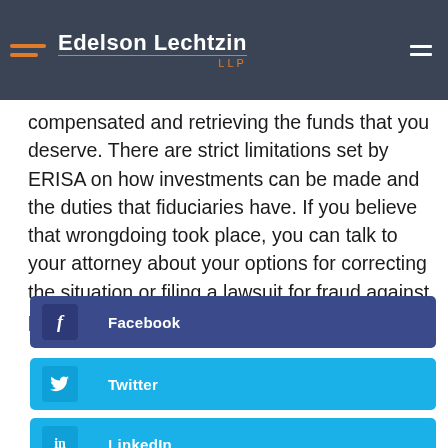Edelson Lechtzin LLP
compensated and retrieving the funds that you deserve. There are strict limitations set by ERISA on how investments can be made and the duties that fiduciaries have. If you believe that wrongdoing took place, you can talk to your attorney about your options for correcting the situation or filing a lawsuit for fraud against plan participants.
Facebook
Twitter
LinkedIn